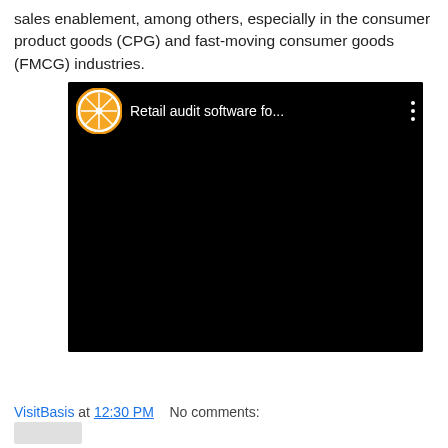sales enablement, among others, especially in the consumer product goods (CPG) and fast-moving consumer goods (FMCG) industries.
[Figure (screenshot): Embedded YouTube-style video player with black background. Shows orange citrus logo on the left, title 'Retail audit software fo...' in white, and a three-dot menu icon on the right.]
VisitBasis at 12:30 PM   No comments: